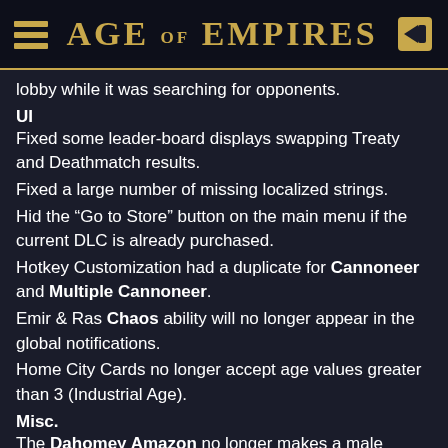AGE OF EMPIRES
lobby while it was searching for opponents.
UI
Fixed some leader-board displays swapping Treaty and Deathmatch results.
Fixed a large number of missing localized strings.
Hid the “Go to Store” button on the main menu if the current DLC is already purchased.
Hotkey Customization had a duplicate for Cannoneer and Multiple Cannoneer.
Emir & Ras Chaos ability will no longer appear in the global notifications.
Home City Cards no longer accept age values greater than 3 (Industrial Age).
Misc.
The Dahomey Amazon no longer makes a male sound when dying.
Certain Ethiopian units lacked voice lines.
No Voice Lines for rescued villager in Fall of the